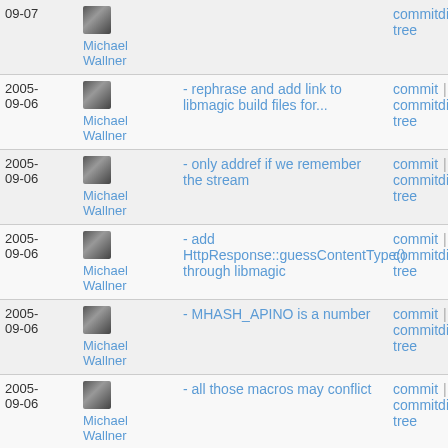| Date | Author | Message | Links |
| --- | --- | --- | --- |
| 2005-09-07 | Michael Wallner |  | commitdiff | tree |
| 2005-09-06 | Michael Wallner | - rephrase and add link to libmagic build files for... | commit | commitdiff | tree |
| 2005-09-06 | Michael Wallner | - only addref if we remember the stream | commit | commitdiff | tree |
| 2005-09-06 | Michael Wallner | - add HttpResponse::guessContentType() through libmagic | commit | commitdiff | tree |
| 2005-09-06 | Michael Wallner | - MHASH_APINO is a number | commit | commitdiff | tree |
| 2005-09-06 | Michael Wallner | - all those macros may conflict | commit | commitdiff | tree |
| 2005-09-05 | Michael Wallner | - even simpler MINFO | commit | commitdiff | tree |